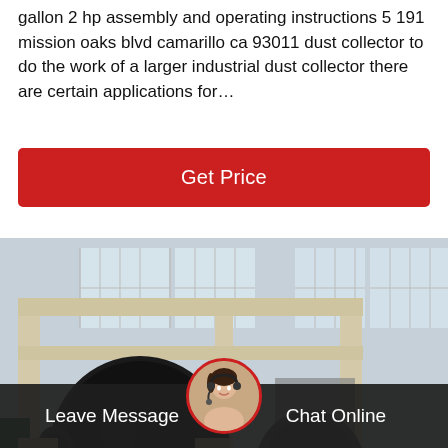gallon 2 hp assembly and operating instructions 5 191 mission oaks blvd camarillo ca 93011 dust collector to do the work of a larger industrial dust collector there are certain applications for…
[Figure (other): Red 'Get Price' button]
[Figure (photo): Industrial dust collector machinery in a factory setting. Large cream/beige metal frame structure with black cylindrical drum/roller, photographed in an industrial warehouse with windows and corrugated metal walls.]
[Figure (other): Bottom navigation bar with 'Leave Message' on left, customer service avatar in center circle with red border, and 'Chat Online' on right, on dark background.]